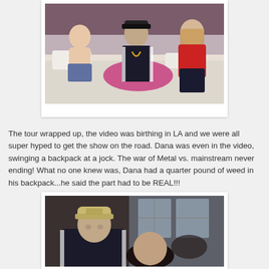[Figure (photo): Polaroid-style photo showing three people on a hotel bed: a shirtless young boy on the left, a person in the middle wearing a black cap and black Adidas tracksuit with chain necklace, and a girl on the right wearing a red top. There is a pink bag/item on the bed.]
The tour wrapped up, the video was birthing in LA and we were all super hyped to get the show on the road. Dana was even in the video, swinging a backpack at a jock. The war of Metal vs. mainstream never ending! What no one knew was, Dana had a quarter pound of weed in his backpack...he said the part had to be REAL!!!
[Figure (photo): Photo of a person wearing a light tan/beige baseball cap and a dark Adidas tracksuit jacket, appearing to be in a dim indoor setting with windows and other people visible in the background.]